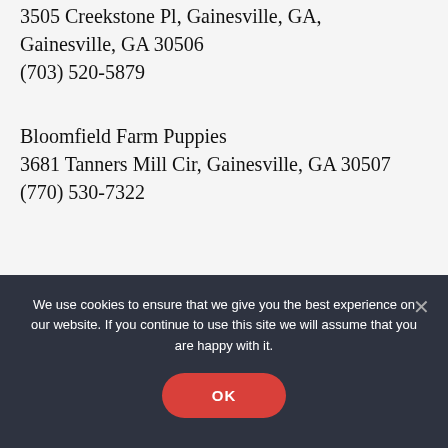3505 Creekstone Pl, Gainesville, GA,
Gainesville, GA 30506
(703) 520-5879
Bloomfield Farm Puppies
3681 Tanners Mill Cir, Gainesville, GA 30507
(770) 530-7322
Humane Society of Forsyth County
We use cookies to ensure that we give you the best experience on our website. If you continue to use this site we will assume that you are happy with it.
OK